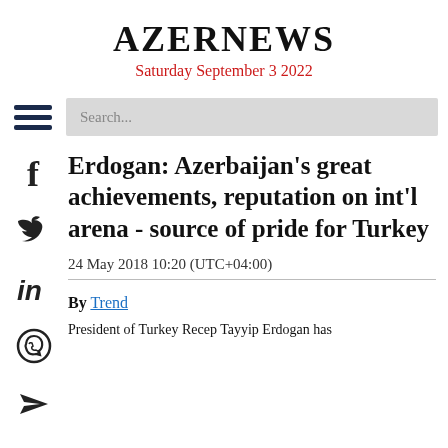AZERNEWS
Saturday September 3 2022
Erdogan: Azerbaijan's great achievements, reputation on int'l arena - source of pride for Turkey
24 May 2018 10:20 (UTC+04:00)
By Trend
President of Turkey Recep Tayyip Erdogan has...